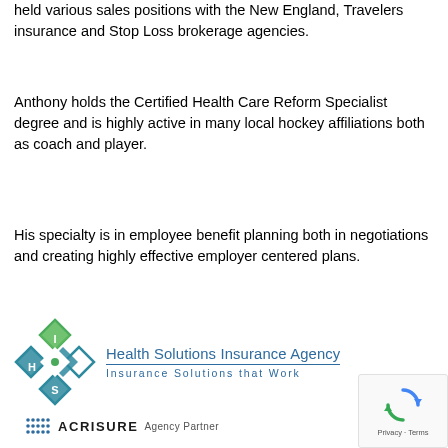held various sales positions with the New England, Travelers insurance and Stop Loss brokerage agencies.
Anthony holds the Certified Health Care Reform Specialist degree and is highly active in many local hockey affiliations both as coach and player.
His specialty is in employee benefit planning both in negotiations and creating highly effective employer centered plans.
[Figure (logo): Health Solutions Insurance Agency logo with diamond-shaped HIS monogram in teal and green, text 'Health Solutions Insurance Agency / Insurance Solutions that Work' in blue, and 'ACRISURE Agency Partner' below]
[Figure (logo): Google reCAPTCHA widget with rotating arrows icon and 'Privacy - Terms' footer]